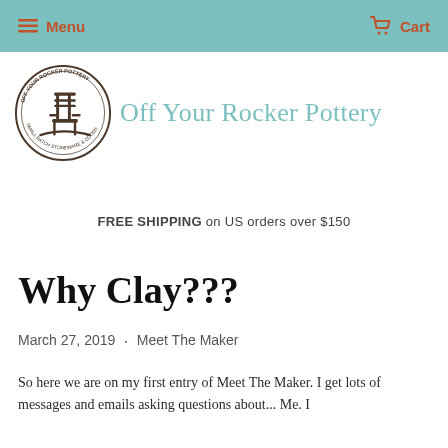Menu   Cart
[Figure (logo): Off Your Rocker Pottery circular stamp logo with rocking chair illustration and brand name text around the circle, next to the text 'Off Your Rocker Pottery' in teal/light blue serif font]
FREE SHIPPING on US orders over $150
Why Clay???
March 27, 2019  ·  Meet The Maker
So here we are on my first entry of Meet The Maker. I get lots of messages and emails asking questions about... Me. I